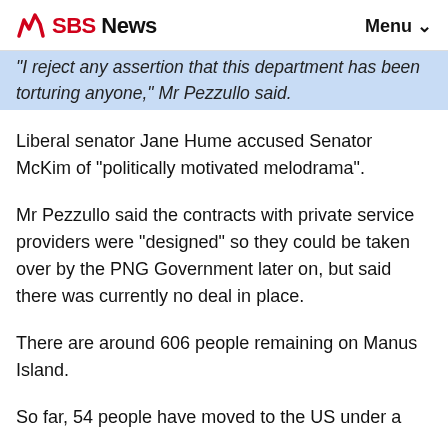SBS News   Menu
"I reject any assertion that this department has been torturing anyone," Mr Pezzullo said.
Liberal senator Jane Hume accused Senator McKim of "politically motivated melodrama".
Mr Pezzullo said the contracts with private service providers were "designed" so they could be taken over by the PNG Government later on, but said there was currently no deal in place.
There are around 606 people remaining on Manus Island.
So far, 54 people have moved to the US under a